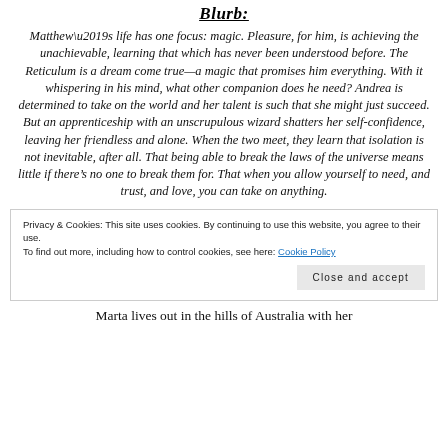Blurb:
Matthew’s life has one focus: magic. Pleasure, for him, is achieving the unachievable, learning that which has never been understood before. The Reticulum is a dream come true—a magic that promises him everything. With it whispering in his mind, what other companion does he need? Andrea is determined to take on the world and her talent is such that she might just succeed. But an apprenticeship with an unscrupulous wizard shatters her self-confidence, leaving her friendless and alone. When the two meet, they learn that isolation is not inevitable, after all. That being able to break the laws of the universe means little if there’s no one to break them for. That when you allow yourself to need, and trust, and love, you can take on anything.
Privacy & Cookies: This site uses cookies. By continuing to use this website, you agree to their use. To find out more, including how to control cookies, see here: Cookie Policy
Close and accept
Marta lives out in the hills of Australia with her